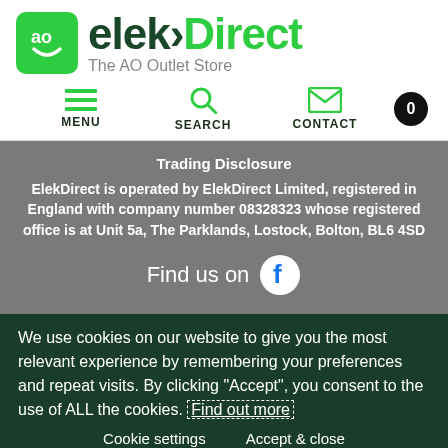[Figure (logo): ElekDirect logo — green AO square icon with smiley face, bold elekDirect text in dark green and green, subtitle 'The AO Outlet Store']
MENU  SEARCH  CONTACT  0
Trading Disclosure
ElekDirect is operated by ElekDirect Limited, registered in England with company number 08328323 whose registered office is at Unit 5a, The Parklands, Lostock, Bolton, BL6 4SD
Find us on [Facebook]
We use cookies on our website to give you the most relevant experience by remembering your preferences and repeat visits. By clicking "Accept", you consent to the use of ALL the cookies. Find out more
Cookie settings  Accept & close